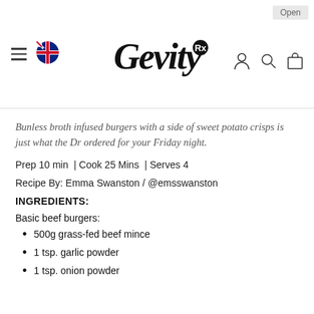Gevity Rx — navigation header with hamburger menu, Australian flag, logo, and icons
Bunless broth infused burgers with a side of sweet potato crisps is just what the Dr ordered for your Friday night.
Prep 10 min  | Cook 25 Mins  | Serves 4
Recipe By: Emma Swanston / @emsswanston
INGREDIENTS:
Basic beef burgers:
500g grass-fed beef mince
1 tsp. garlic powder
1 tsp. onion powder